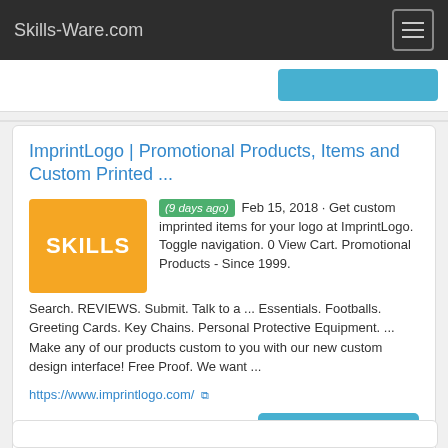Skills-Ware.com
ImprintLogo | Promotional Products, Items and Custom Printed ...
(9 days ago) Feb 15, 2018 · Get custom imprinted items for your logo at ImprintLogo. Toggle navigation. 0 View Cart. Promotional Products - Since 1999. Search. REVIEWS. Submit. Talk to a ... Essentials. Footballs. Greeting Cards. Key Chains. Personal Protective Equipment. ... Make any of our products custom to you with our new custom design interface! Free Proof. We want ...
https://www.imprintlogo.com/
Category: Art, Design ,